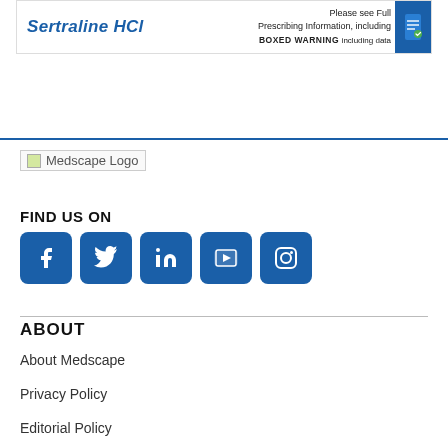[Figure (screenshot): Sertraline HCl advertisement banner showing product name and prescribing information notice with a blue graphic element]
[Figure (logo): Medscape Logo placeholder image]
FIND US ON
[Figure (infographic): Social media icons: Facebook, Twitter, LinkedIn, YouTube, Instagram — all in dark blue square buttons with rounded corners]
ABOUT
About Medscape
Privacy Policy
Editorial Policy